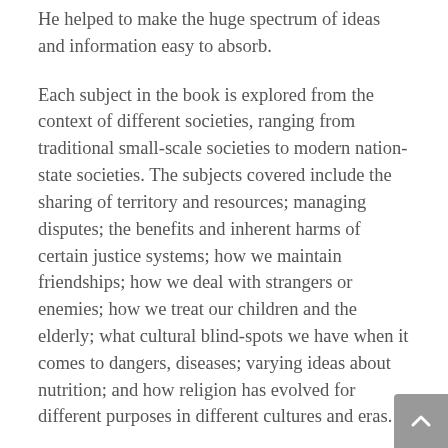He helped to make the huge spectrum of ideas and information easy to absorb.
Each subject in the book is explored from the context of different societies, ranging from traditional small-scale societies to modern nation-state societies. The subjects covered include the sharing of territory and resources; managing disputes; the benefits and inherent harms of certain justice systems; how we maintain friendships; how we deal with strangers or enemies; how we treat our children and the elderly; what cultural blind-spots we have when it comes to dangers, diseases; varying ideas about nutrition; and how religion has evolved for different purposes in different cultures and eras.
The anecdotes from Jared Diamond's many experiences living with traditional, small-scale societies range from scary to comical (although of course, we who live in the West are usually the comical ones). The story about the deranged, murdering “sorcerer” who roamed the New